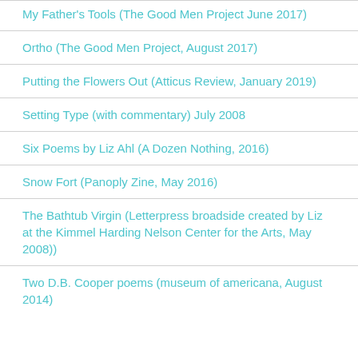My Father's Tools (The Good Men Project June 2017)
Ortho (The Good Men Project, August 2017)
Putting the Flowers Out (Atticus Review, January 2019)
Setting Type (with commentary) July 2008
Six Poems by Liz Ahl (A Dozen Nothing, 2016)
Snow Fort (Panoply Zine, May 2016)
The Bathtub Virgin (Letterpress broadside created by Liz at the Kimmel Harding Nelson Center for the Arts, May 2008))
Two D.B. Cooper poems (museum of americana, August 2014)